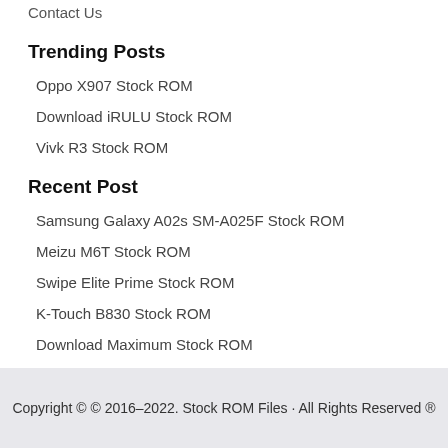Contact Us
Trending Posts
Oppo X907 Stock ROM
Download iRULU Stock ROM
Vivk R3 Stock ROM
Recent Post
Samsung Galaxy A02s SM-A025F Stock ROM
Meizu M6T Stock ROM
Swipe Elite Prime Stock ROM
K-Touch B830 Stock ROM
Download Maximum Stock ROM
Copyright © © 2016–2022. Stock ROM Files · All Rights Reserved ®